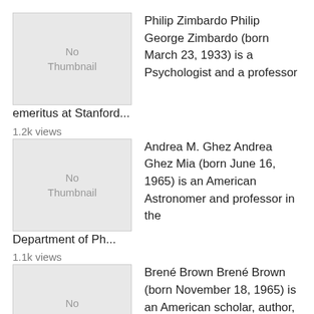[Figure (other): No Thumbnail placeholder image box for Philip Zimbardo]
Philip Zimbardo Philip George Zimbardo (born March 23, 1933) is a Psychologist and a professor emeritus at Stanford...
1.2k views
[Figure (other): No Thumbnail placeholder image box for Andrea M. Ghez]
Andrea M. Ghez Andrea Ghez Mia (born June 16, 1965) is an American Astronomer and professor in the Department of Ph...
1.1k views
[Figure (other): No Thumbnail placeholder image box for Brené Brown]
Brené Brown Brené Brown (born November 18, 1965) is an American scholar, author, and public speaker, who is Curr...
1k views